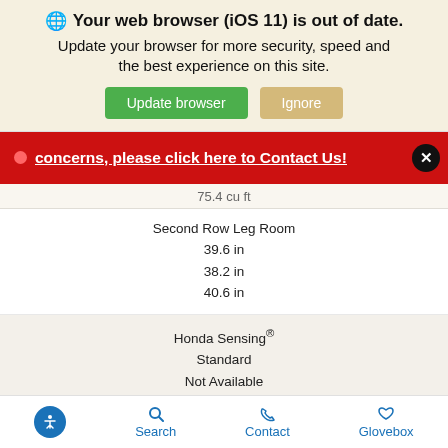Your web browser (iOS 11) is out of date. Update your browser for more security, speed and the best experience on this site.
concerns, please click here to Contact Us!
75.4 cu ft
Second Row Leg Room
39.6 in
38.2 in
40.6 in
Honda Sensing®
Standard
Not Available
Not Available
The new 2022 Honda Passport comes equipped with a balanced performance, immersive technology, and impressive space. Don't settle for the new 2022 Honda Passport or 2022 Jeep Grand Cherokee, only the new Honda Passport has the space and dynamic capabilities you need all in one uncompromising
Accessibility  Search  Contact  Glovebox